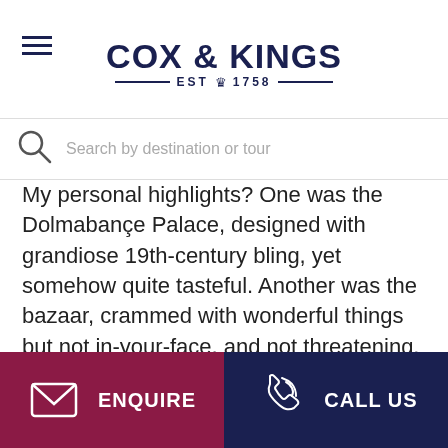COX & KINGS EST 1758
Search by destination or tour
My personal highlights? One was the Dolmabançe Palace, designed with grandiose 19th-century bling, yet somehow quite tasteful. Another was the bazaar, crammed with wonderful things but not in-your-face, and not threatening. From tacky-cheap to high-quality expensive (check out leather, carpets and jewellery), you can look without being pressured to buy. If you do buy, the preferred currency is definitely the euro.
ENQUIRE   CALL US